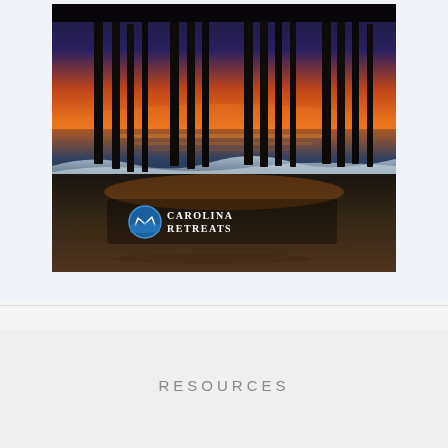[Figure (photo): Sunset beach photo taken under a pier. Silhouetted wooden pier pilings against a vivid orange and purple sunset sky. Ocean waves crash on dark wet sand in the foreground. The Carolina Retreats logo (a circular emblem with a North Carolina outline and blue gradient, followed by the text 'CAROLINA RETREATS' in white serif font) is overlaid at the lower center of the image.]
RESOURCES